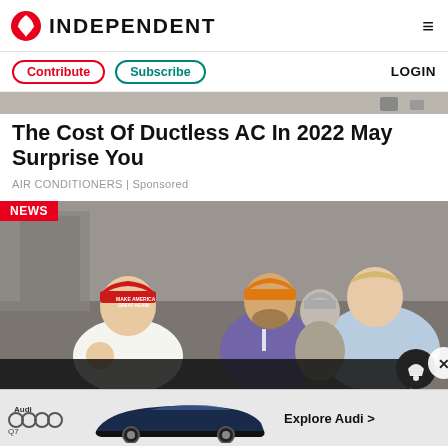INDEPENDENT
Contribute | Subscribe | LOGIN
[Figure (photo): Top partial image strip showing a tent/outdoor scene]
The Cost Of Ductless AC In 2022 May Surprise You
AIR CONDITIONERS | Sponsored
[Figure (photo): News photo with NEWS badge showing three men at an outdoor event: one in a red MAGA hat (left), one in an orange cap (center), and one in a blue shirt (right). A dark bar and notification bell overlay appear at bottom.]
[Figure (photo): Audi Q7 advertisement banner with Audi logo, Q7 model name, car image, and 'Explore Audi >' text]